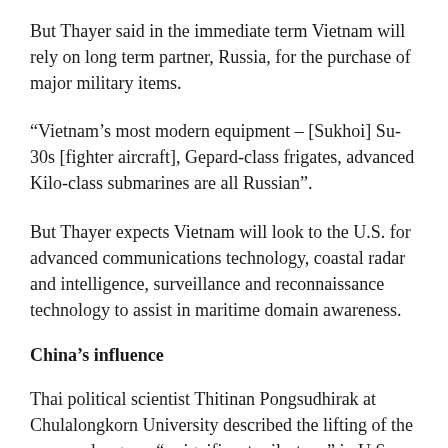But Thayer said in the immediate term Vietnam will rely on long term partner, Russia, for the purchase of major military items.
“Vietnam’s most modern equipment – [Sukhoi] Su-30s [fighter aircraft], Gepard-class frigates, advanced Kilo-class submarines are all Russian”.
But Thayer expects Vietnam will look to the U.S. for advanced communications technology, coastal radar and intelligence, surveillance and reconnaissance technology to assist in maritime domain awareness.
China’s influence
Thai political scientist Thitinan Pongsudhirak at Chulalongkorn University described the lifting of the arms embargo as “a significant milestone” in U.S.-